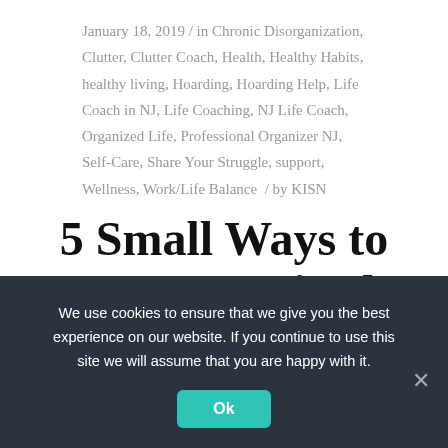January 18, 2019 / in Chronic Disorganization, Clutter, Clutter Coach, Health, Healthy Habits, healthy living, Hoarding, Hoarding Help, Life Coach in NJ, Life Coaching, NJ Life Coach, Organized Life, Professional Organizer NJ, Self-Care, Share Your Struggle, support, Wellness, Work/Life Balance / by KISN
5 Small Ways to Get Organized When Your Depression Has Other Ideas
We use cookies to ensure that we give you the best experience on our website. If you continue to use this site we will assume that you are happy with it.